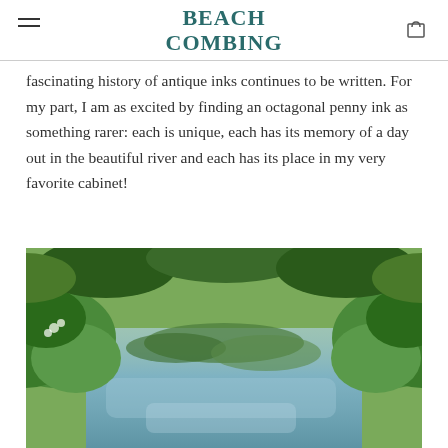BEACH COMBING
fascinating history of antique inks continues to be written. For my part, I am as excited by finding an octagonal penny ink as something rarer: each is unique, each has its memory of a day out in the beautiful river and each has its place in my very favorite cabinet!
[Figure (photo): A lush green river scene with aquatic plants, overhanging trees and shrubs lining both banks, with calm reflective water.]